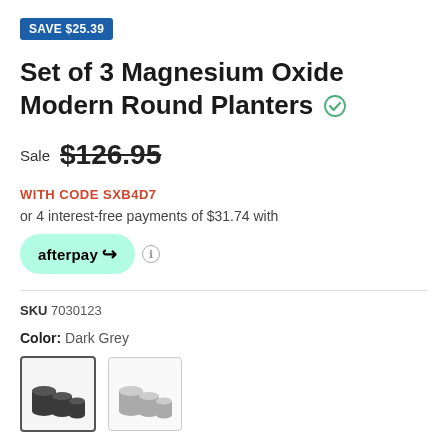SAVE $25.39
Set of 3 Magnesium Oxide Modern Round Planters
Sale $126.95 (strikethrough)
WITH CODE SXB4D7
or 4 interest-free payments of $31.74 with
[Figure (logo): Afterpay logo button with teal rounded pill background]
SKU 7030123
Color: Dark Grey
[Figure (photo): Two color swatches showing sets of 3 round planters: dark grey (selected, with border) and light grey]